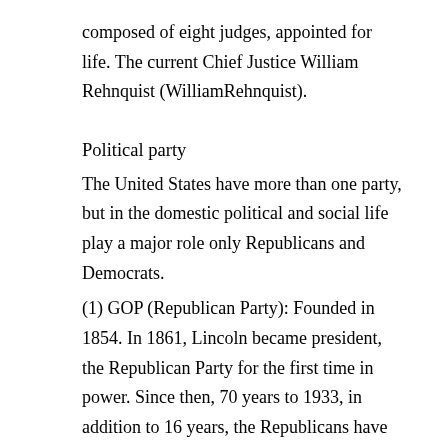composed of eight judges, appointed for life. The current Chief Justice William Rehnquist (WilliamRehnquist).
Political party
The United States have more than one party, but in the domestic political and social life play a major role only Republicans and Democrats.
(1) GOP (Republican Party): Founded in 1854. In 1861, Lincoln became president, the Republican Party for the first time in power. Since then, 70 years to 1933, in addition to 16 years, the Republicans have ruled the White House. 1933 to 2001, there was Eisenhower (January 1953 to January 1961), Nixon, Ford (January 1969 to January 1977), Reagan (January 1981 to 1989 January), Bush (January 1989 to January 1993) ruling. The party leader for the President, or the unsuccessful presidential